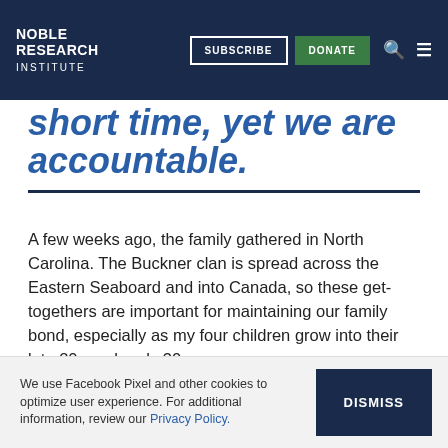NOBLE RESEARCH INSTITUTE | SUBSCRIBE | DONATE
short time, yet we are accountable.
A few weeks ago, the family gathered in North Carolina. The Buckner clan is spread across the Eastern Seaboard and into Canada, so these get-togethers are important for maintaining our family bond, especially as my four children grow into their late 20s and early 30s.
Soon after receiving welcome hugs and warm greetings, my 5-year-old grandson Johnny darted to my side to
We use Facebook Pixel and other cookies to optimize user experience. For additional information, review our Privacy Policy.